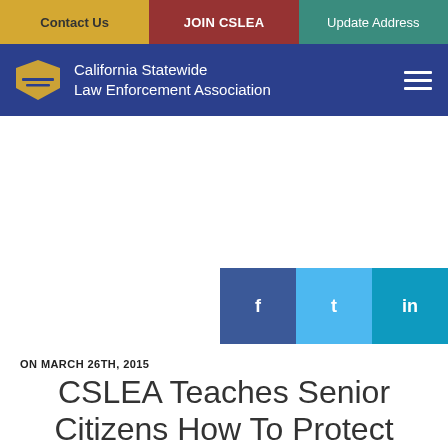Contact Us | JOIN CSLEA | Update Address
[Figure (logo): California Statewide Law Enforcement Association header with logo and navigation]
[Figure (other): Social sharing buttons: Facebook, Twitter, LinkedIn]
ON MARCH 26TH, 2015
CSLEA Teaches Senior Citizens How To Protect Themselves Against Fraud
Assemblymember Mark Stone Hosting Town Hall